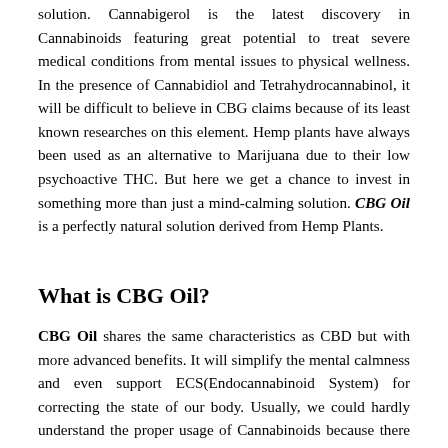solution. Cannabigerol is the latest discovery in Cannabinoids featuring great potential to treat severe medical conditions from mental issues to physical wellness. In the presence of Cannabidiol and Tetrahydrocannabinol, it will be difficult to believe in CBG claims because of its least known researches on this element. Hemp plants have always been used as an alternative to Marijuana due to their low psychoactive THC. But here we get a chance to invest in something more than just a mind-calming solution. CBG Oil is a perfectly natural solution derived from Hemp Plants.
What is CBG Oil?
CBG Oil shares the same characteristics as CBD but with more advanced benefits. It will simplify the mental calmness and even support ECS(Endocannabinoid System) for correcting the state of our body. Usually, we could hardly understand the proper usage of Cannabinoids because there is even more to discover. There are 85 active Cannabinoids present in Hemp